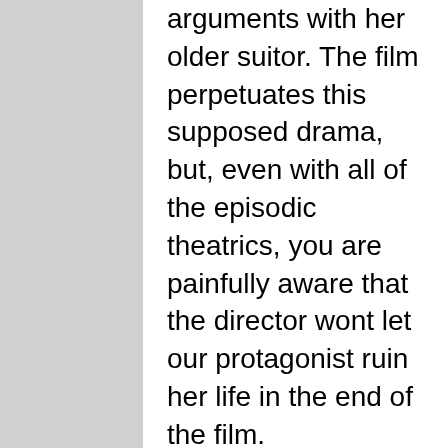arguments with her older suitor. The film perpetuates this supposed drama, but, even with all of the episodic theatrics, you are painfully aware that the director wont let our protagonist ruin her life in the end of the film.
The style of the movie, with England's ashy skies and damp streets, is extremely indicative of the droll, unenthusiastic approach that the film has. Scherfig, knowing that the story has been done a thousand times over, barely does anything to make the story seem fresh or interesting; almost as if giving